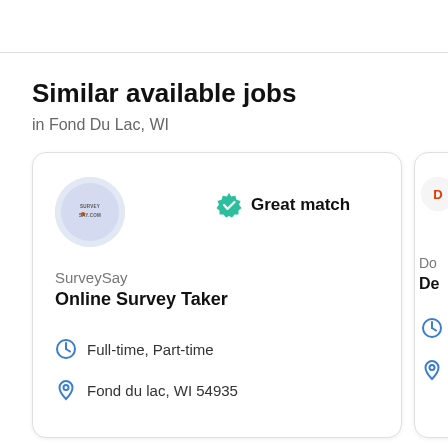Similar available jobs
in Fond Du Lac, WI
[Figure (other): Job listing card for SurveySay - Online Survey Taker. Shows company logo, Great match badge with teal checkmark, job title in bold, Full-time Part-time with clock icon, and Fond du lac WI 54935 with pin icon. A partially visible second card is cropped at the right edge.]